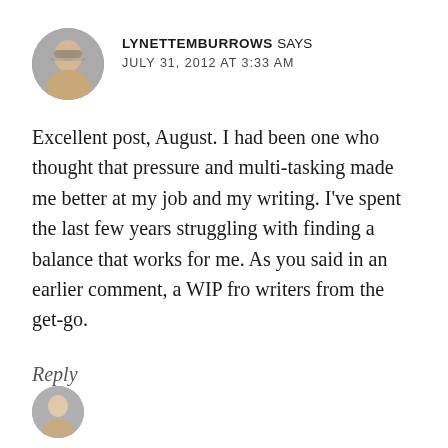LYNETTEMBURROWS SAYS
JULY 31, 2012 AT 3:33 AM
Excellent post, August. I had been one who thought that pressure and multi-tasking made me better at my job and my writing. I’ve spent the last few years struggling with finding a balance that works for me. As you said in an earlier comment, a WIP fro writers from the get-go.
Reply